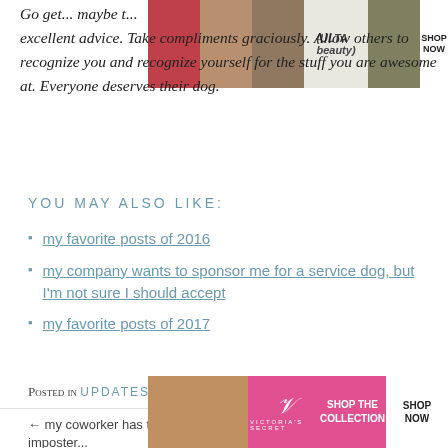[Figure (photo): Advertisement banner at top showing makeup/beauty images with Ulta logo and SHOP NOW button]
Go get... maybe ... excellent advice. Take compliments graciously. Allow others to recognize you and recognize yourself for the stuff you are awesome at. Everyone deserves their dog.
YOU MAY ALSO LIKE:
my favorite posts of 2016
my company wants to sponsor me for a service dog, but I'm not sure I should accept
my favorite posts of 2017
Posted in UPDATES
← my coworker has terrible imposter...
did I price myself... a job, ...for the ...ore →
[Figure (photo): Victoria's Secret advertisement banner with SHOP THE COLLECTION and SHOP NOW button and CLOSE button overlay]